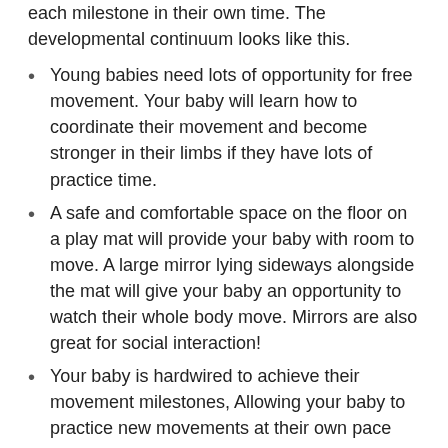each milestone in their own time. The developmental continuum looks like this.
Young babies need lots of opportunity for free movement. Your baby will learn how to coordinate their movement and become stronger in their limbs if they have lots of practice time.
A safe and comfortable space on the floor on a play mat will provide your baby with room to move. A large mirror lying sideways alongside the mat will give your baby an opportunity to watch their whole body move. Mirrors are also great for social interaction!
Your baby is hardwired to achieve their movement milestones, Allowing your baby to practice new movements at their own pace will ensure that they build up the necessary muscle strength. Encouraging your baby to sit or stand before they are able to achieve these movements spontaneously could push them before their bodies are strong enough.
Everything looks pretty different once you're sitting up!